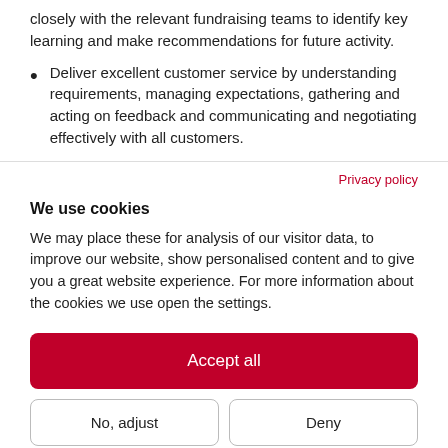closely with the relevant fundraising teams to identify key learning and make recommendations for future activity.
Deliver excellent customer service by understanding requirements, managing expectations, gathering and acting on feedback and communicating and negotiating effectively with all customers.
Privacy policy
We use cookies
We may place these for analysis of our visitor data, to improve our website, show personalised content and to give you a great website experience. For more information about the cookies we use open the settings.
Accept all
No, adjust
Deny